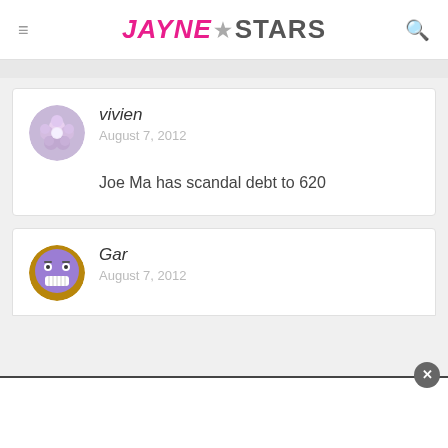JayneStars
vivien
August 7, 2012
Joe Ma has scandal debt to 620
Gar
August 7, 2012